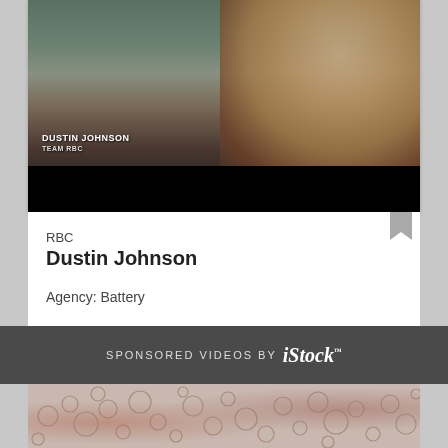[Figure (photo): Video thumbnail showing a man with beard (Dustin Johnson) with text overlay 'DUSTIN JOHNSON / TEAM RBC' on a dark background]
RBC
Dustin Johnson
Agency: Battery
SPONSORED VIDEOS by iStock
[Figure (photo): Microscope image showing circular cell-like bubbles/droplets on a light pink background]